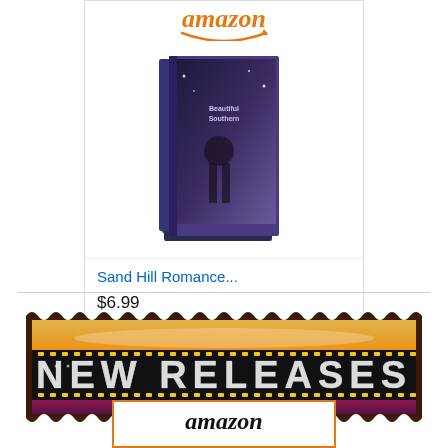[Figure (screenshot): Amazon product listing showing a book set 'Sand Hill Romance...' priced at $6.99 with a Shop now button]
Sand Hill Romance...
$6.99
[Figure (illustration): New Releases banner with film strip style design, orange/red gradient background, white text on black strip]
[Figure (logo): Amazon logo at bottom]